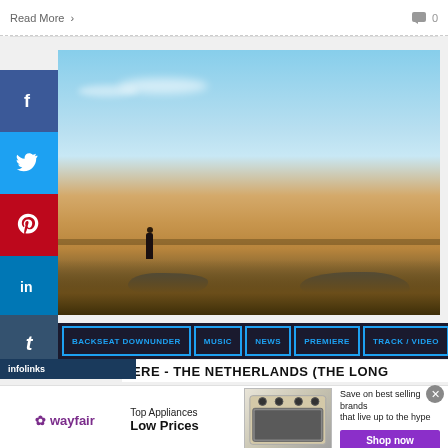Read More  >    0
[Figure (photo): A person standing in a flat marsh landscape with golden grasses, dark water pools, and a blue sky with scattered clouds]
[Figure (infographic): Social media share buttons sidebar: Facebook (blue), Twitter (blue), Pinterest (red), LinkedIn (blue), Tumblr (dark blue)]
BACKSEAT DOWNUNDER  |  MUSIC  |  NEWS  |  PREMIERE  |  TRACK / VIDEO
HERE - THE NETHERLANDS THE LONG
[Figure (infographic): Wayfair advertisement: Top Appliances Low Prices, Save on best selling brands that live up to the hype, Shop now button, image of a stove/range appliance]